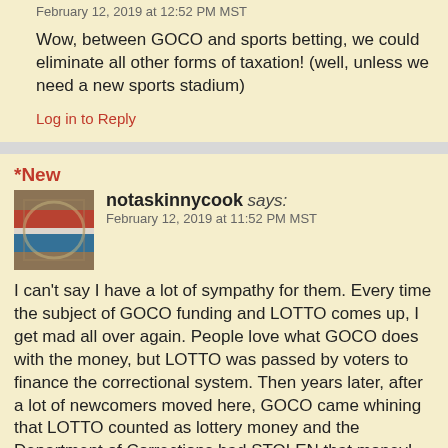February 12, 2019 at 12:52 PM MST
Wow, between GOCO and sports betting, we could eliminate all other forms of taxation! (well, unless we need a new sports stadium)
Log in to Reply
*New
notaskinnycook says:
February 12, 2019 at 11:52 PM MST
I can't say I have a lot of sympathy for them. Every time the subject of GOCO funding and LOTTO comes up, I get mad all over again. People love what GOCO does with the money, but LOTTO was passed by voters to finance the correctional system. Then years later, after a lot of newcomers moved here, GOCO came whining that LOTTO counted as lottery money and the Department of Corrections had STOLEN that money! So they put an initiative on the ballot to “take back what was theirs”.The newcomers didn't know the history and GOCO prevailed. Now Corrections has been relegated to the general fund and GOCO still paramouths for